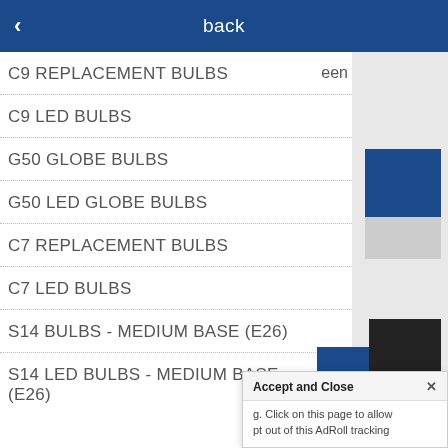back
C9 REPLACEMENT BULBS
C9 LED BULBS
G50 GLOBE BULBS
G50 LED GLOBE BULBS
C7 REPLACEMENT BULBS
C7 LED BULBS
S14 BULBS - MEDIUM BASE (E26)
S14 LED BULBS - MEDIUM BASE (E26)
Accept and Close ×
g. Click on this page to allow
pt out of this AdRoll tracking